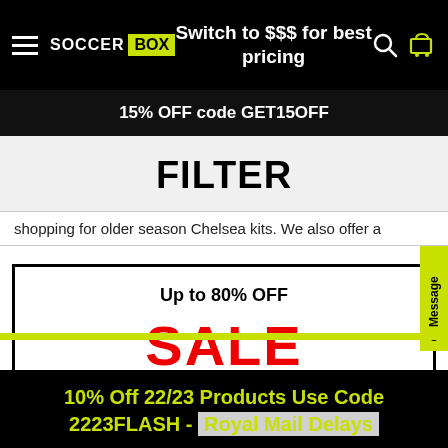SOCCER BOX | Switch to $$$ for best pricing
15% OFF code GET15OFF
FILTER
shopping for older season Chelsea kits. We also offer a
Up to 80% OFF
SALE
10% Off 22/23 Products Use Code 2223FLASH - Royal Mail Delays